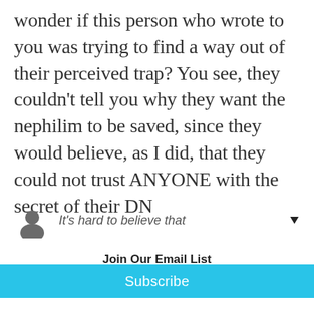wonder if this person who wrote to you was trying to find a way out of their perceived trap? You see, they couldn't tell you why they want the nephilim to be saved, since they would believe, as I did, that they could not trust ANYONE with the secret of their DN
[Figure (illustration): Partial circular avatar icon (dark gray semicircle) representing a user comment, with partial text 'It's hard to believe that' and a downward-pointing triangle button]
Join Our Email List
Your email address
Subscribe